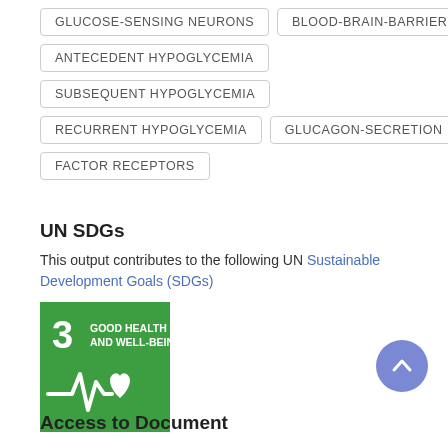GLUCOSE-SENSING NEURONS
BLOOD-BRAIN-BARRIER
ANTECEDENT HYPOGLYCEMIA
SUBSEQUENT HYPOGLYCEMIA
RECURRENT HYPOGLYCEMIA
GLUCAGON-SECRETION
FACTOR RECEPTORS
UN SDGs
This output contributes to the following UN Sustainable Development Goals (SDGs)
[Figure (illustration): UN SDG 3 badge: Good Health and Well-Being, green background with white heartbeat/EKG line and heart symbol, number 3 in top left]
Access to Document